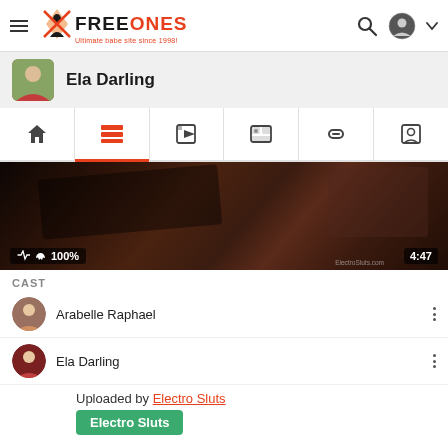FREEONES - Ultimate babe site since 1998!
Ela Darling
[Figure (screenshot): Video thumbnail showing dark scene, 100% like rating, duration 4:47, watermark ElectroSluts.com]
CAST
Arabelle Raphael
Ela Darling
Uploaded by Electro Sluts
Electro Sluts